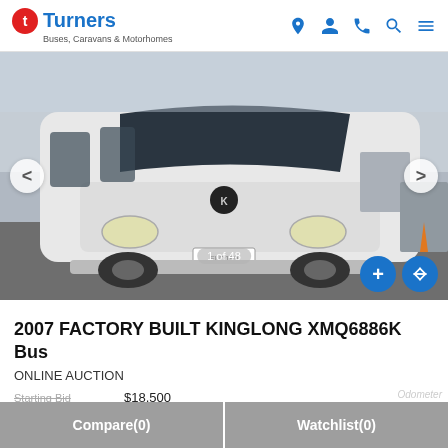Turners Buses, Caravans & Motorhomes
[Figure (photo): Front view of a white 2007 King Long XMQ6886K bus parked in a yard, showing headlights and license plate FLD199. Image 1 of 48.]
2007 FACTORY BUILT KINGLONG XMQ6886K Bus
ONLINE AUCTION
Starting Bid  $18,500
Compare(0)   Watchlist(0)